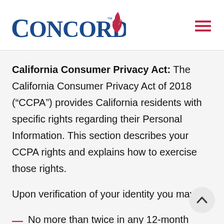[Figure (logo): Concorde logo with blue serif text and red flame icon]
California Consumer Privacy Act: The California Consumer Privacy Act of 2018 (“CCPA”) provides California residents with specific rights regarding their Personal Information. This section describes your CCPA rights and explains how to exercise those rights.
Upon verification of your identity you may:
No more than twice in any 12-month period,